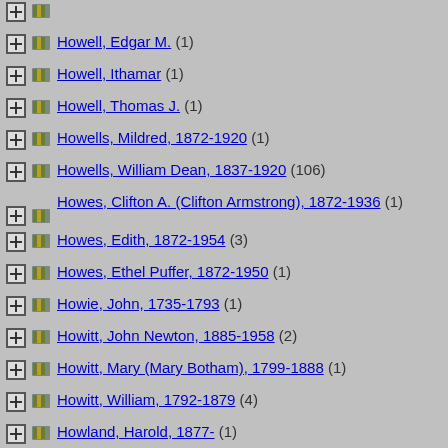Howell, Edgar M. (1)
Howell, Ithamar (1)
Howell, Thomas J. (1)
Howells, Mildred, 1872-1920 (1)
Howells, William Dean, 1837-1920 (106)
Howes, Clifton A. (Clifton Armstrong), 1872-1936 (1)
Howes, Edith, 1872-1954 (3)
Howes, Ethel Puffer, 1872-1950 (1)
Howie, John, 1735-1793 (1)
Howitt, John Newton, 1885-1958 (2)
Howitt, Mary (Mary Botham), 1799-1888 (1)
Howitt, William, 1792-1879 (4)
Howland, Harold, 1877- (1)
R. H. (Robert Howlett) (3)
Hows, John Augustus, 1832-1874 (1)
Hoxie, Bertha Davidson, 1882- (1)